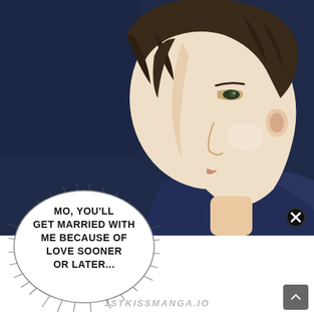[Figure (illustration): Manga panel showing a close-up profile of a young man with dark brown hair, pale skin, viewed from the side against a dark navy blue background. He is wearing dark clothing with a white collar visible.]
MO, YOU'LL GET MARRIED WITH ME BECAUSE OF LOVE SOONER OR LATER...
1STKISSMANGA.IO